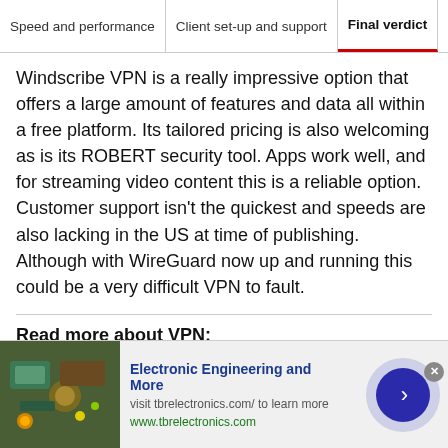Speed and performance | Client set-up and support | Final verdict
Windscribe VPN is a really impressive option that offers a large amount of features and data all within a free platform. Its tailored pricing is also welcoming as is its ROBERT security tool. Apps work well, and for streaming video content this is a reliable option. Customer support isn't the quickest and speeds are also lacking in the US at time of publishing. Although with WireGuard now up and running this could be a very difficult VPN to fault.
Read more about VPN:
[Figure (infographic): Advertisement banner for Electronic Engineering and More with thumbnail image, text, and arrow button]